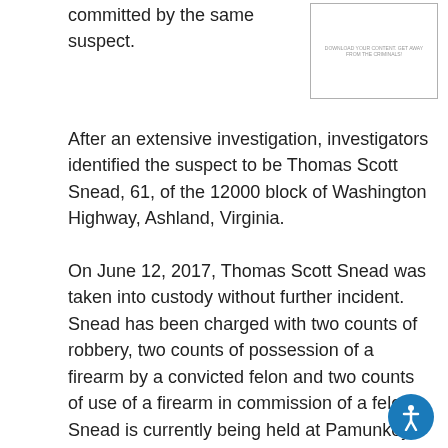committed by the same suspect.
[Figure (other): Small image with caption text, bordered box]
After an extensive investigation, investigators identified the suspect to be Thomas Scott Snead, 61, of the 12000 block of Washington Highway, Ashland, Virginia.
On June 12, 2017, Thomas Scott Snead was taken into custody without further incident. Snead has been charged with two counts of robbery, two counts of possession of a firearm by a convicted felon and two counts of use of a firearm in commission of a felony. Snead is currently being held at Pamunkey Regional Jail with no bond.
“I am proud of the efforts of our investigative team and the efforts of our partners in the community for identifying the suspect. Although an arrest has been made, we will continue to make sure all evidence is identified to ensure support of a successful prosecution,” said Colonel David R. Hines.
Anyone with information about this case is asked to contact